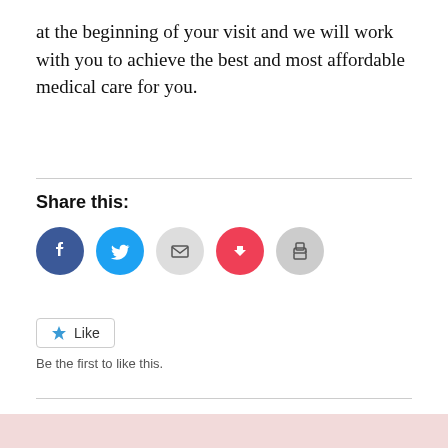at the beginning of your visit and we will work with you to achieve the best and most affordable medical care for you.
[Figure (infographic): Social share buttons: Facebook (blue circle), Twitter (blue circle), Email (grey circle), Pocket (red/pink circle), Print (grey circle)]
Share this:
[Figure (other): Like button widget with star icon and text 'Like']
Be the first to like this.